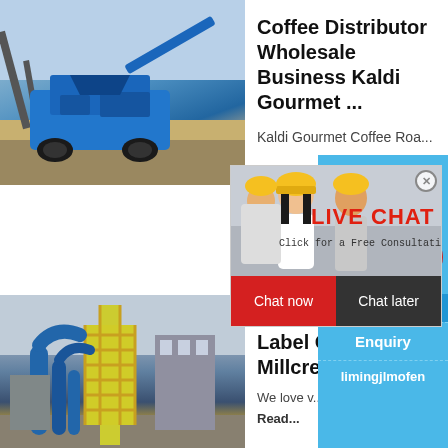[Figure (photo): Blue mining/crushing machine on construction site, outdoor setting with sandy ground]
Coffee Distributor Wholesale Business Kaldi Gourmet ...
Kaldi Gourmet Coffee Roa...
[Figure (screenshot): Live chat popup overlay with workers in yellow hard hats; red LIVE CHAT text, 'Click for a Free Consultation', Chat now and Chat later buttons]
hour online
[Figure (photo): Grey industrial jaw crusher machine on blue background]
Click me to chat>>
Enquiry
limingjlmofen
[Figure (photo): Industrial factory with yellow scaffolding and blue pipes, tall tower structure]
Wholes... Label C... Millcre...
We love v...